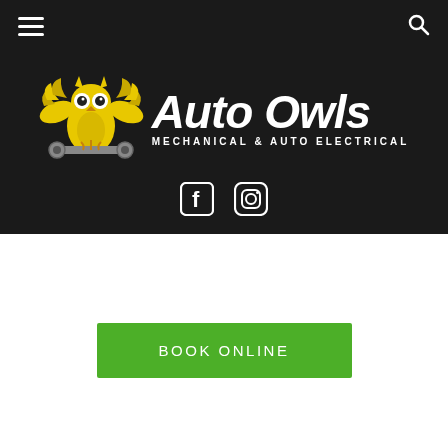Navigation bar with hamburger menu and search icon
[Figure (logo): Auto Owls logo: yellow owl with wings spread holding a wrench, with bold italic white text 'Auto Owls' and subtitle 'MECHANICAL & AUTO ELECTRICAL'. Social media icons for Facebook and Instagram below.]
BOOK ONLINE